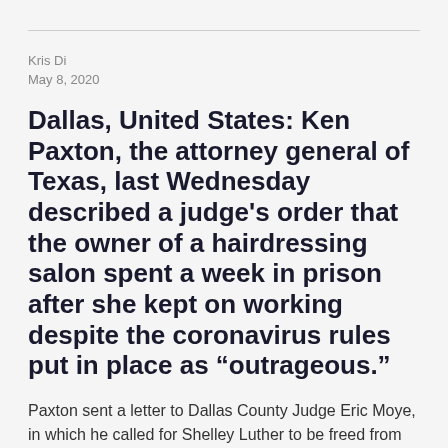Kris Di
May 8, 2020
Dallas, United States: Ken Paxton, the attorney general of Texas, last Wednesday described a judge's order that the owner of a hairdressing salon spent a week in prison after she kept on working despite the coronavirus rules put in place as “outrageous.”
Paxton sent a letter to Dallas County Judge Eric Moye, in which he called for Shelley Luther to be freed from prison. Fellow